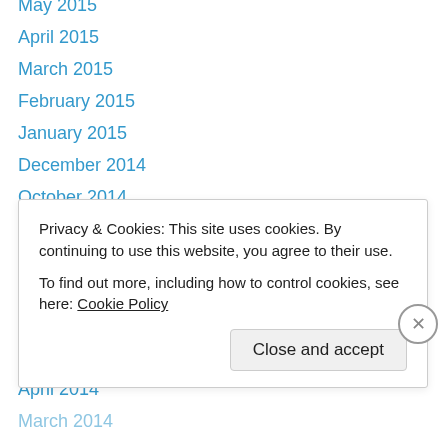May 2015
April 2015
March 2015
February 2015
January 2015
December 2014
October 2014
September 2014
August 2014
July 2014
June 2014
May 2014
April 2014
March 2014
Privacy & Cookies: This site uses cookies. By continuing to use this website, you agree to their use.
To find out more, including how to control cookies, see here: Cookie Policy
Close and accept